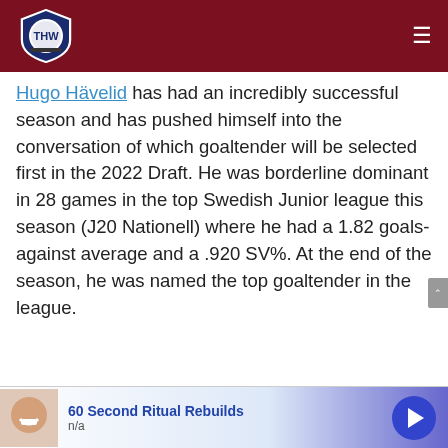THW (The Hockey Writers)
Hugo Hävelid has had an incredibly successful season and has pushed himself into the conversation of which goaltender will be selected first in the 2022 Draft. He was borderline dominant in 28 games in the top Swedish Junior league this season (J20 Nationell) where he had a 1.82 goals-against average and a .920 SV%. At the end of the season, he was named the top goaltender in the league.
[Figure (screenshot): Video player showing an ad (Ad 1 of 1, 0:15) with a man on the left thumbnail and 'Up Next - 2022-2023 OHL Futures Watch – Owen Sound Attack' text on the right dark panel with a close button.]
[Figure (screenshot): Advertisement banner showing '60 Second Ritual Rebuilds' in blue text with 'n/a' subtitle, an image of a smiling person, and a blue circular play button on the right.]